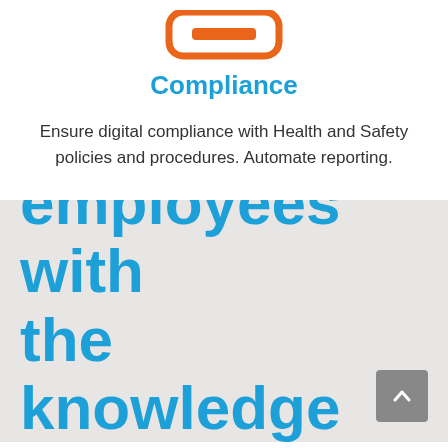[Figure (illustration): Orange rounded rectangle icon representing a clipboard or compliance document, partially visible at top of page]
Compliance
Ensure digital compliance with Health and Safety policies and procedures. Automate reporting.
Empower employees with the knowledge